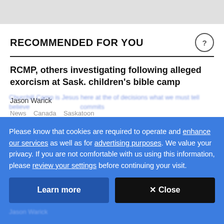RECOMMENDED FOR YOU
RCMP, others investigating following alleged exorcism at Sask. children's bible camp
Jason Warick
News   Canada   Saskatoon
Please know that cookies are required to operate and enhance our services as well as for advertising purposes. We value your privacy. If you are not comfortable with us using this information, please review your settings before continuing your visit.
Learn more
✕ Close